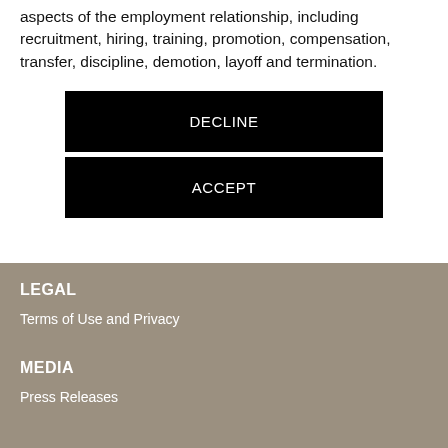aspects of the employment relationship, including recruitment, hiring, training, promotion, compensation, transfer, discipline, demotion, layoff and termination.
DECLINE
ACCEPT
LEGAL
Terms of Use and Privacy
MEDIA
Press Releases